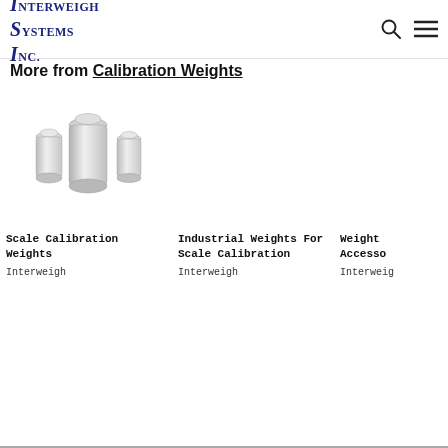Interweigh Systems Inc.
More from Calibration Weights
[Figure (photo): Three silver cylindrical calibration weights of different sizes arranged together]
Scale Calibration Weights
Interweigh
Industrial Weights For Scale Calibration
Interweigh
Weight Accessories
Interweigh